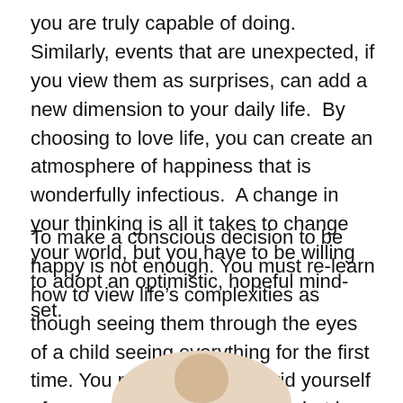you are truly capable of doing.  Similarly, events that are unexpected, if you view them as surprises, can add a new dimension to your daily life.  By choosing to love life, you can create an atmosphere of happiness that is wonderfully infectious.  A change in your thinking is all it takes to change your world, but you have to be willing to adopt an optimistic, hopeful mind-set.
To make a conscious decision to be happy is not enough. You must re-learn how to view life's complexities as though seeing them through the eyes of a child seeing everything for the first time. You must also try and rid yourself of any preconceived ideas of what is good and what is bad so that you can appreciate the rich insights hiding in various stages of your life's journey.
[Figure (illustration): Partial top of a person's head/hair visible at the bottom center of the page, cropped with rounded oval framing.]